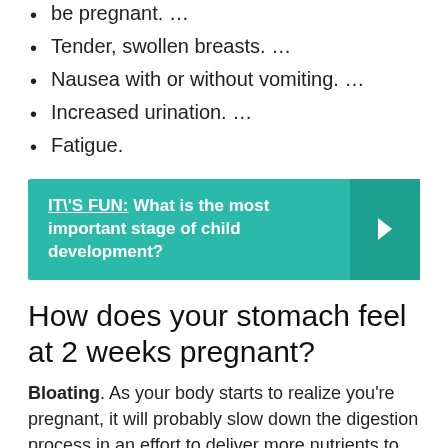be pregnant. …
Tender, swollen breasts. …
Nausea with or without vomiting. …
Increased urination. …
Fatigue.
[Figure (infographic): Teal banner with text: IT'S FUN: What is the most important stage of child development? with a right-arrow chevron on the right side.]
How does your stomach feel at 2 weeks pregnant?
Bloating. As your body starts to realize you're pregnant, it will probably slow down the digestion process in an effort to deliver more nutrients to baby. This can result in a bit of gas and bloating—hey, maybe it will